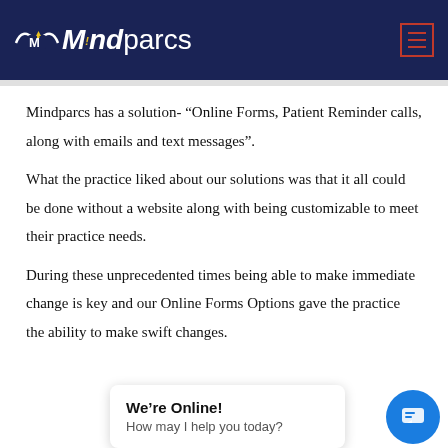Mindparcs
Mindparcs has a solution- “Online Forms, Patient Reminder calls, along with emails and text messages”.
What the practice liked about our solutions was that it all could be done without a website along with being customizable to meet their practice needs.
During these unprecedented times being able to make immediate change is key and our Online Forms Options gave the practice the ability to make swift changes.
We’re Online! How may I help you today?